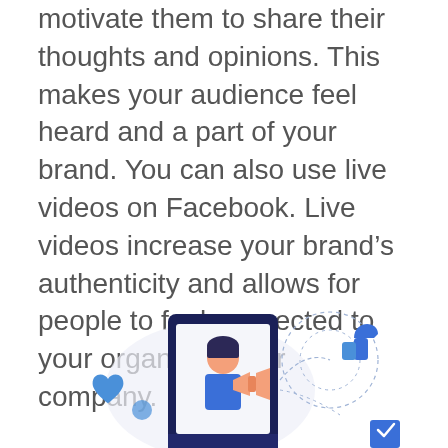motivate them to share their thoughts and opinions. This makes your audience feel heard and a part of your brand. You can also use live videos on Facebook. Live videos increase your brand's authenticity and allows for people to feel connected to your organization or company.
[Figure (illustration): Illustration of a person with a megaphone on a smartphone screen, with social media icons including a thumbs up/like icon, blue heart, and circular dashed lines, representing Facebook live video and social media engagement.]